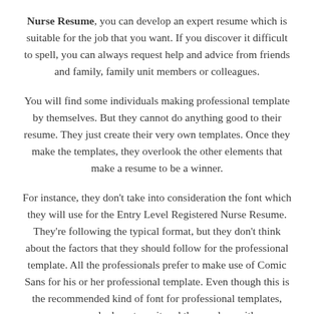Nurse Resume, you can develop an expert resume which is suitable for the job that you want. If you discover it difficult to spell, you can always request help and advice from friends and family, family unit members or colleagues.
You will find some individuals making professional template by themselves. But they cannot do anything good to their resume. They just create their very own templates. Once they make the templates, they overlook the other elements that make a resume to be a winner.
For instance, they don't take into consideration the font which they will use for the Entry Level Registered Nurse Resume. They're following the typical format, but they don't think about the factors that they should follow for the professional template. All the professionals prefer to make use of Comic Sans for his or her professional template. Even though this is the recommended kind of font for professional templates, many people do not use it and they end up with a